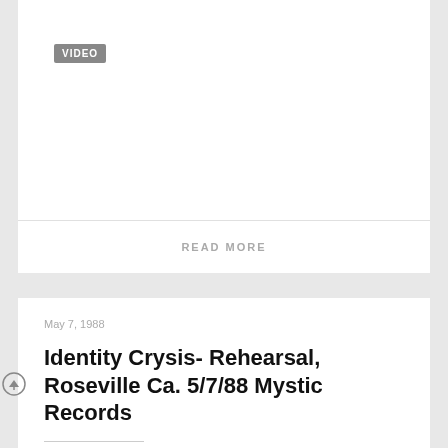[Figure (other): White card area with VIDEO badge label on grey background]
VIDEO
READ MORE
May 7, 1988
Identity Crysis- Rehearsal, Roseville Ca. 5/7/88 Mystic Records
OK, everyone is asking for old local stuff. I bought my first video camera on 5/6/88. I went straight to Gilman to film Operation Ivy and my battery died. The next day, the guys in Identity Crysis invited me over to their rehearsal space to video. They were based in roseville, and had a 7″ single on Mystic Records back around this time frame. Oh, also, since I